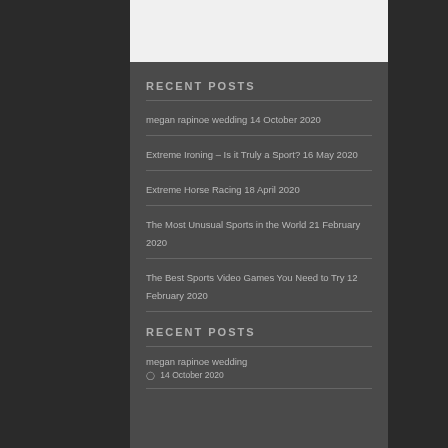RECENT POSTS
megan rapinoe wedding 14 October 2020
Extreme Ironing – Is it Truly a Sport? 16 May 2020
Extreme Horse Racing 18 April 2020
The Most Unusual Sports in the World 21 February 2020
The Best Sports Video Games You Need to Try 12 February 2020
RECENT POSTS
megan rapinoe wedding
14 October 2020